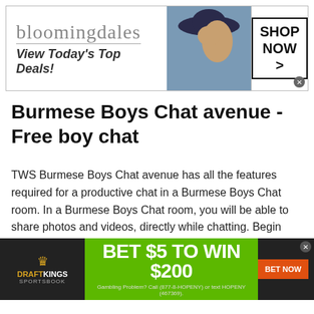[Figure (screenshot): Bloomingdale's advertisement banner with logo, 'View Today's Top Deals!' tagline, model photo, and 'SHOP NOW >' button]
Burmese Boys Chat avenue - Free boy chat
TWS Burmese Boys Chat avenue has all the features required for a productive chat in a Burmese Boys Chat room. In a Burmese Boys Chat room, you will be able to share photos and videos, directly while chatting. Begin your fun chat with boys and start making new friends now. There are particular issues that boys frequently run into
[Figure (screenshot): DraftKings Sportsbook advertisement banner: 'BET $5 TO WIN $200' with 'BET NOW' button and gambling disclaimer text]